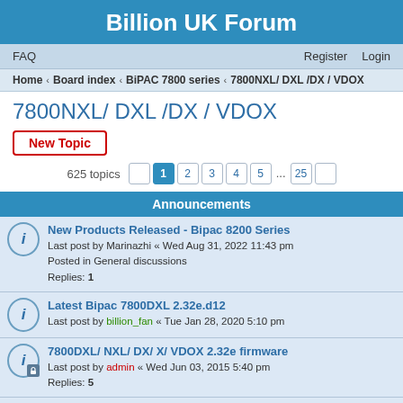Billion UK Forum
FAQ  Register  Login
Home › Board index › BiPAC 7800 series › 7800NXL/ DXL /DX / VDOX
7800NXL/ DXL /DX / VDOX
New Topic
625 topics  1 2 3 4 5 ... 25
Announcements
New Products Released - Bipac 8200 Series
Last post by Marinazhi « Wed Aug 31, 2022 11:43 pm
Posted in General discussions
Replies: 1
Latest Bipac 7800DXL 2.32e.d12
Last post by billion_fan « Tue Jan 28, 2020 5:10 pm
7800DXL/ NXL/ DX/ X/ VDOX 2.32e firmware
Last post by admin « Wed Jun 03, 2015 5:40 pm
Replies: 5
[22/1/2014] New 2.32d firmware for 7800DX/DXL/VDOX
Last post by Marinaoxo « Wed Aug 31, 2022 10:59 pm
Replies: 44